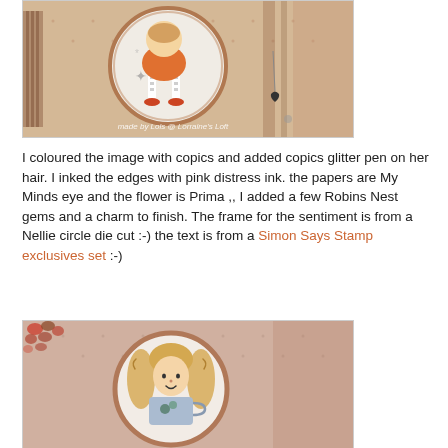[Figure (photo): Close-up of a handmade greeting card featuring a cartoon girl character in an orange outfit with striped stockings inside a circular frame, on brown patterned paper, with a heart charm. Watermark reads 'made by Lols @ Lorraine's Loft'.]
I coloured the image with copics and added copics glitter pen on her hair. I inked the edges with pink distress ink. the papers are My Minds eye and the flower is Prima ,, I added a few Robins Nest gems and a charm to finish. The frame for the sentiment is from a Nellie circle die cut :-) the text is from a Simon Says Stamp exclusives set :-)
[Figure (photo): Close-up of a handmade greeting card featuring a cartoon girl with long wavy hair holding a teacup, inside a circular frame on pink/mauve patterned paper. Small candy pieces visible in top left corner.]